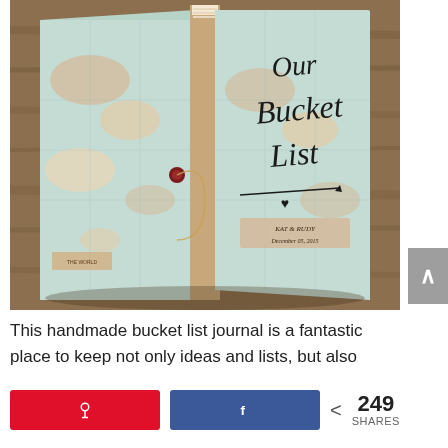[Figure (photo): An open handmade journal/book with a world map cover design. The right side of the cover reads 'Our Bucket List' in decorative script, with personalized text below. The book is open and displayed on a wooden surface.]
This handmade bucket list journal is a fantastic place to keep not only ideas and lists, but also
[Figure (infographic): Social sharing buttons: red Pinterest button with pin icon, blue Facebook button with f icon, and share count showing < 249 SHARES]